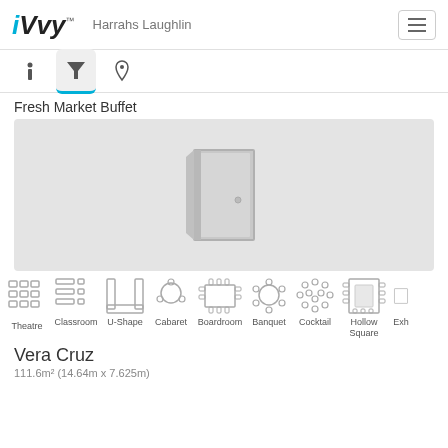iVvy — Harrahs Laughlin
[Figure (screenshot): Navigation tabs: info (i), filter (funnel icon, active with blue underline), location pin]
Fresh Market Buffet
[Figure (photo): Placeholder room image with a grey door icon on a light grey background]
[Figure (infographic): Row of seating arrangement icons: Theatre, Classroom, U-Shape, Cabaret, Boardroom, Banquet, Cocktail, Hollow Square, Exh (partially visible)]
Vera Cruz
111.6m² (14.64m x 7.625m)